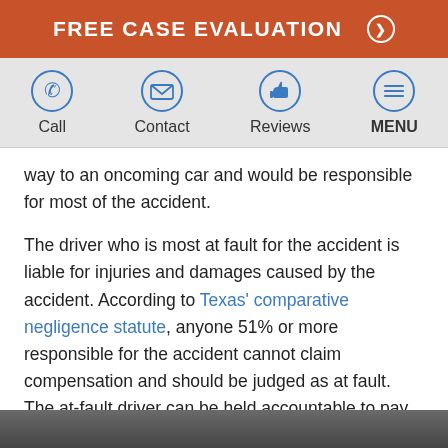FREE CASE EVALUATION ⊙
[Figure (infographic): Navigation bar with four icons: Call (phone), Contact (envelope), Reviews (thumbs up), MENU (hamburger menu lines)]
way to an oncoming car and would be responsible for most of the accident.
The driver who is most at fault for the accident is liable for injuries and damages caused by the accident. According to Texas' comparative negligence statute, anyone 51% or more responsible for the accident cannot claim compensation and should be judged as at fault. The at-fault driver can be held accountable to pay you for the damages they caused to you and your family.
[Figure (photo): Bottom strip showing a partial photo, appears to be a car accident or street scene]